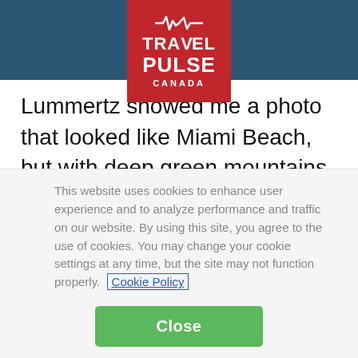Travel Pulse Canada
Lummertz showed me a photo that looked like Miami Beach, but with deep green mountains backing the city.
“One half of the island is a natural reserve,” he said. “There’s very good surfing and windsurfing, and it’s very popular for nightlife. Some people call this the Ibiza of Brazil.
This website uses cookies to enhance user experience and to analyze performance and traffic on our website. By using this site, you agree to the use of cookies. You may change your cookie settings at any time, but the site may not function properly.  Cookie Policy
Close